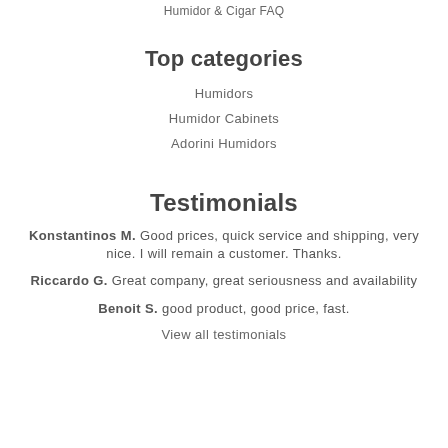Humidor & Cigar FAQ
Top categories
Humidors
Humidor Cabinets
Adorini Humidors
Testimonials
Konstantinos M. Good prices, quick service and shipping, very nice. I will remain a customer. Thanks.
Riccardo G. Great company, great seriousness and availability
Benoit S. good product, good price, fast.
View all testimonials